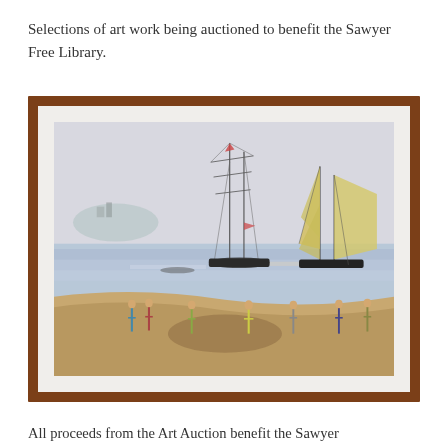Selections of art work being auctioned to benefit the Sawyer Free Library.
[Figure (photo): A framed watercolor painting showing a harbor scene with sailing ships on the water, people standing on a beach in the foreground, and a hazy sky. The frame is made of warm brown wood with a white mat border.]
All proceeds from the Art Auction benefit the Sawyer